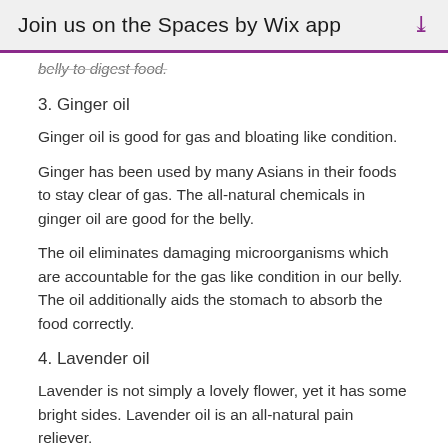Join us on the Spaces by Wix app
belly to digest food.
3. Ginger oil
Ginger oil is good for gas and bloating like condition.
Ginger has been used by many Asians in their foods to stay clear of gas. The all-natural chemicals in ginger oil are good for the belly.
The oil eliminates damaging microorganisms which are accountable for the gas like condition in our belly. The oil additionally aids the stomach to absorb the food correctly.
4. Lavender oil
Lavender is not simply a lovely flower, yet it has some bright sides. Lavender oil is an all-natural pain reliever.
If you have a stomach ache or a pains as a